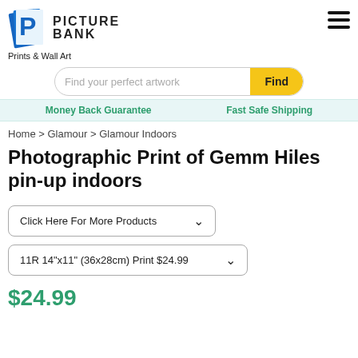[Figure (logo): Picture Bank logo with blue P icon and bold text, tagline 'Prints & Wall Art']
[Figure (screenshot): Hamburger menu icon (three horizontal lines)]
Find your perfect artwork
Find
Money Back Guarantee    Fast Safe Shipping
Home > Glamour > Glamour Indoors
Photographic Print of Gemm Hiles pin-up indoors
Click Here For More Products
11R 14"x11" (36x28cm) Print $24.99
$24.99